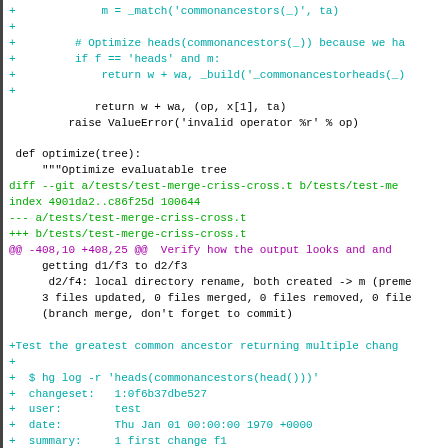Code diff showing Python source and test file changes including optimize function and hg log output